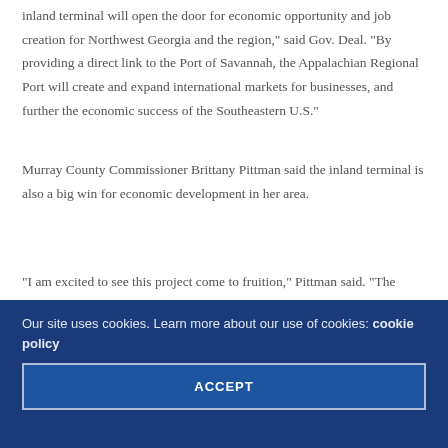This new inland terminal will open the door for economic opportunity and job creation for Northwest Georgia and the region," said Gov. Deal. "By providing a direct link to the Port of Savannah, the Appalachian Regional Port will create and expand international markets for businesses, and further the economic success of the Southeastern U.S."
Murray County Commissioner Brittany Pittman said the inland terminal is also a big win for economic development in her area.
"I am excited to see this project come to fruition," Pittman said. "The inland port will provide important competitive advantages to our existing industries. This development will also bring new jobs to Murray County, not only in logistics, but in support industries and the broader community."
Our site uses cookies. Learn more about our use of cookies: cookie policy
ACCEPT